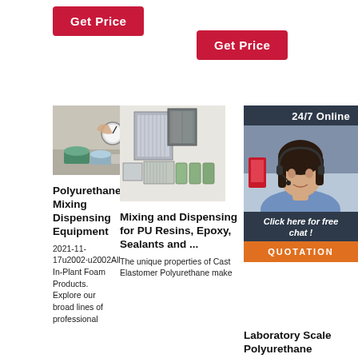[Figure (other): Red 'Get Price' button (top left)]
[Figure (other): Red 'Get Price' button (top center)]
[Figure (photo): Polyurethane mixing dispensing equipment — hands with gauge and plastic containers]
Polyurethane Mixing Dispensing Equipment
2021-11-17u2002·u2002All In-Plant Foam Products. Explore our broad lines of professional
[Figure (photo): Various air filters and filter media products]
Mixing and Dispensing for PU Resins, Epoxy, Sealants and ...
The unique properties of Cast Elastomer Polyurethane make
[Figure (other): 24/7 Online chat overlay with woman wearing headset, orange QUOTATION button]
Laboratory Scale Polyurethane Processing Edge-Sweets
Laboratory Scale Polyurethane Processing. Edge-Sweets can meet your